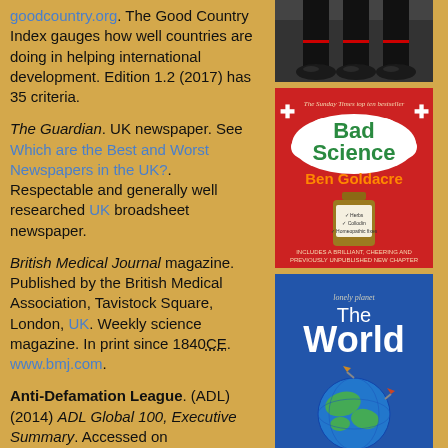goodcountry.org. The Good Country Index gauges how well countries are doing in helping international development. Edition 1.2 (2017) has 35 criteria.
The Guardian. UK newspaper. See Which are the Best and Worst Newspapers in the UK?. Respectable and generally well researched UK broadsheet newspaper.
British Medical Journal magazine. Published by the British Medical Association, Tavistock Square, London, UK. Weekly science magazine. In print since 1840CE. www.bmj.com.
Anti-Defamation League. (ADL) (2014) ADL Global 100, Executive Summary. Accessed on global100.adl.org on 2017 Jan 02. The numbers given are of those
[Figure (photo): Photo of feet/shoes at the top right, appears to be a black and white or dark photo of military or formal shoes]
[Figure (photo): Book cover: Bad Science by Ben Goldacre. Red background with cloud shape containing title in green and author in red/orange. Medicine bottle illustration below.]
[Figure (photo): Book cover: Lonely Planet The World. Blue background with globe illustration and white text.]